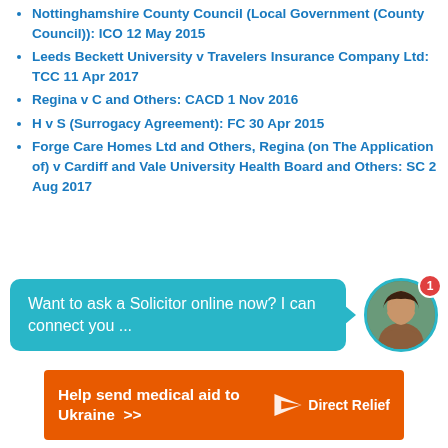Nottinghamshire County Council (Local Government (County Council)): ICO 12 May 2015
Leeds Beckett University v Travelers Insurance Company Ltd: TCC 11 Apr 2017
Regina v C and Others: CACD 1 Nov 2016
H v S (Surrogacy Agreement): FC 30 Apr 2015
Forge Care Homes Ltd and Others, Regina (on The Application of) v Cardiff and Vale University Health Board and Others: SC 2 Aug 2017
[Figure (screenshot): Chat widget with teal speech bubble saying 'Want to ask a Solicitor online now? I can connect you ...' and a female avatar photo with a red notification badge showing '1']
[Figure (other): Orange advertisement banner: 'Help send medical aid to Ukraine >>' with Direct Relief logo]